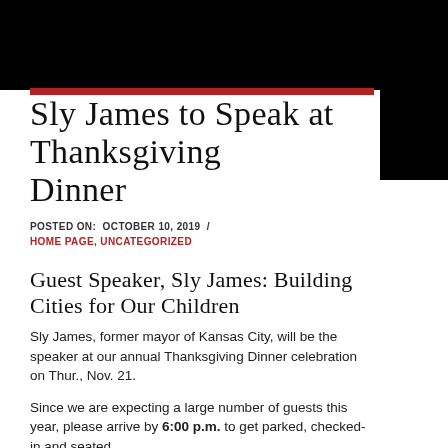Sly James to Speak at Thanksgiving Dinner
POSTED ON: OCTOBER 10, 2019 / HOME PAGE, UNCATEGORIZED
Guest Speaker, Sly James: Building Cities for Our Children
Sly James, former mayor of Kansas City, will be the speaker at our annual Thanksgiving Dinner celebration on Thur., Nov. 21.
Since we are expecting a large number of guests this year, please arrive by 6:00 p.m. to get parked, checked-in and seated.